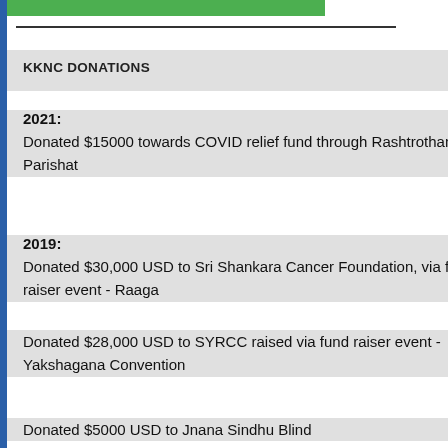[Figure (screenshot): Green button/banner at top of left panel]
KKNC DONATIONS
2021: Donated $15000 towards COVID relief fund through Rashtrothana Parishat
2019: Donated $30,000 USD to Sri Shankara Cancer Foundation, via fund raiser event - Raaga
Donated $28,000 USD to SYRCC raised via fund raiser event - Yakshagana Convention
Donated $5000 USD to Jnana Sindhu Blind
Enter your KKNC.ORG username.
Password: *
Enter the password that accompanies your username
Log in
Social Media
[Figure (screenshot): Two broken image icons in Social Media section]
Like  Sign Up to see what your friend